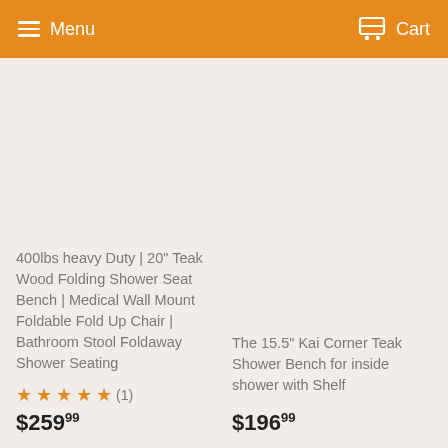Menu  Cart
400lbs heavy Duty | 20" Teak Wood Folding Shower Seat Bench | Medical Wall Mount Foldable Fold Up Chair | Bathroom Stool Foldaway Shower Seating
★★★★★ (1)
$259.99
The 15.5" Kai Corner Teak Shower Bench for inside shower with Shelf
$196.99